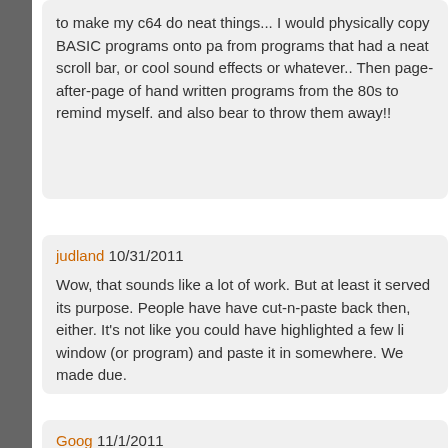to make my c64 do neat things... I would physically copy BASIC programs onto pa from programs that had a neat scroll bar, or cool sound effects or whatever.. Then page-after-page of hand written programs from the 80s to remind myself. and also bear to throw them away!!
judland 10/31/2011

Wow, that sounds like a lot of work. But at least it served its purpose. People have have cut-n-paste back then, either. It's not like you could have highlighted a few li window (or program) and paste it in somewhere. We made due.
Goog 11/1/2011

I typed in many programs from RUN, Compute! and Compute!'s Gazette. I also ha original KERNAL ROM--you know, the one when you type in a long program and g position... and realize you made a typo... so you backspace a couple of keys and I hit that one a few times.

But there's something to be said for type-in programs. There has been nothing qu complaining).